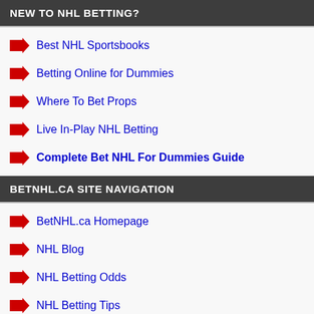NEW TO NHL BETTING?
Best NHL Sportsbooks
Betting Online for Dummies
Where To Bet Props
Live In-Play NHL Betting
Complete Bet NHL For Dummies Guide
BETNHL.CA SITE NAVIGATION
BetNHL.ca Homepage
NHL Blog
NHL Betting Odds
NHL Betting Tips
Detailed Stats